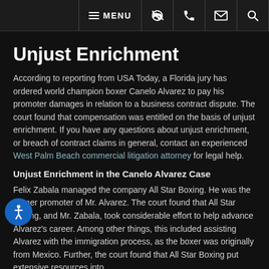MENU | phone | email | search
Unjust Enrichment
According to reporting from USA Today, a Florida jury has ordered world champion boxer Canelo Alvarez to pay his promoter damages in relation to a business contract dispute. The court found that compensation was entitled on the basis of unjust enrichment. If you have any questions about unjust enrichment, or breach of contract claims in general, contact an experienced West Palm Beach commercial litigation attorney for legal help.
Unjust Enrichment in the Canelo Alvarez Case
Felix Zabala managed the company All Star Boxing. He was the former promoter of Mr. Alvarez. The court found that All Star Boxing, and Mr. Zabala, took considerable effort to help advance Alvarez's career. Among other things, this included assisting Alvarez with the immigration process, as the boxer was originally from Mexico. Further, the court found that All Star Boxing put extensive resources into